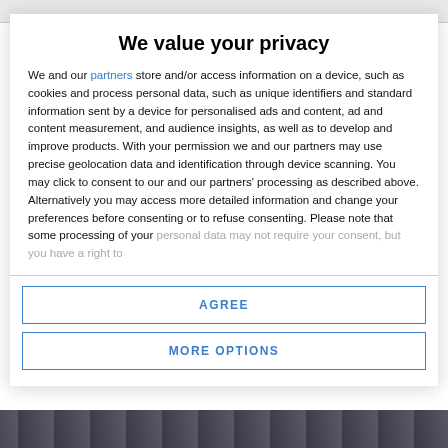We value your privacy
We and our partners store and/or access information on a device, such as cookies and process personal data, such as unique identifiers and standard information sent by a device for personalised ads and content, ad and content measurement, and audience insights, as well as to develop and improve products. With your permission we and our partners may use precise geolocation data and identification through device scanning. You may click to consent to our and our partners' processing as described above. Alternatively you may access more detailed information and change your preferences before consenting or to refuse consenting. Please note that some processing of your personal data may not require your consent, but you have a right to
AGREE
MORE OPTIONS
[Figure (photo): Bottom strip showing a crowd photo partially visible at the bottom of the page]